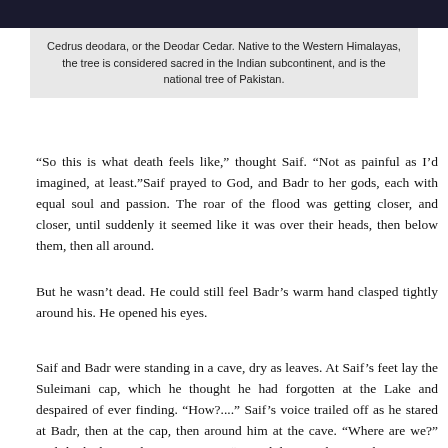[Figure (photo): Dark image bar at top of page, appears to be a photograph of a tree or forest scene, mostly dark/black.]
Cedrus deodara, or the Deodar Cedar. Native to the Western Himalayas, the tree is considered sacred in the Indian subcontinent, and is the national tree of Pakistan.
“So this is what death feels like,” thought Saif. “Not as painful as I’d imagined, at least.”Saif prayed to God, and Badr to her gods, each with equal soul and passion. The roar of the flood was getting closer, and closer, until suddenly it seemed like it was over their heads, then below them, then all around.
But he wasn’t dead. He could still feel Badr’s warm hand clasped tightly around his. He opened his eyes.
Saif and Badr were standing in a cave, dry as leaves. At Saif’s feet lay the Suleimani cap, which he thought he had forgotten at the Lake and despaired of ever finding. “How?....” Saif’s voice trailed off as he stared at Badr, then at the cap, then around him at the cave. “Where are we?” Badr looked around in amazement. “How did we get here?” The cave was wide and airy, with a deceptively low mouth, so that they had to crawl to get out. Once outside, they saw that they were on a mountain high above the cemetery, which was by now completely inundated. Tombstones, rocks and fallen trees floated around in grim silence. The